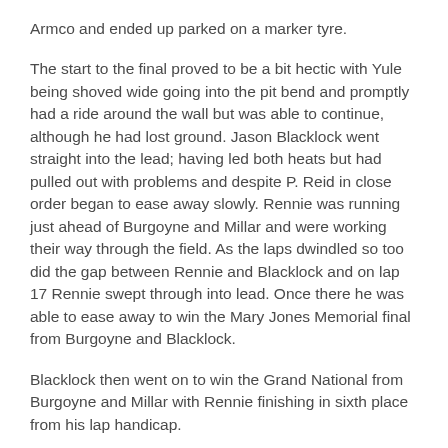Armco and ended up parked on a marker tyre.
The start to the final proved to be a bit hectic with Yule being shoved wide going into the pit bend and promptly had a ride around the wall but was able to continue, although he had lost ground. Jason Blacklock went straight into the lead; having led both heats but had pulled out with problems and despite P. Reid in close order began to ease away slowly. Rennie was running just ahead of Burgoyne and Millar and were working their way through the field. As the laps dwindled so too did the gap between Rennie and Blacklock and on lap 17 Rennie swept through into lead. Once there he was able to ease away to win the Mary Jones Memorial final from Burgoyne and Blacklock.
Blacklock then went on to win the Grand National from Burgoyne and Millar with Rennie finishing in sixth place from his lap handicap.
There was another good turnout of Saloon drivers with the new grades coming into play resulting in a few drivers starting from different places. Parker and Wright were taking the opportunity to get their cars set up for the World